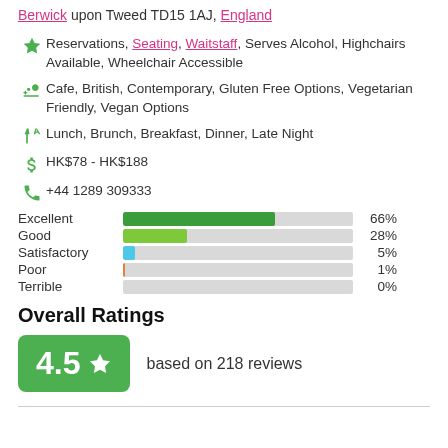Berwick upon Tweed TD15 1AJ, England
Reservations, Seating, Waitstaff, Serves Alcohol, Highchairs Available, Wheelchair Accessible
Cafe, British, Contemporary, Gluten Free Options, Vegetarian Friendly, Vegan Options
Lunch, Brunch, Breakfast, Dinner, Late Night
HK$78 - HK$188
+44 1289 309333
[Figure (bar-chart): Rating distribution]
Overall Ratings
4.5 ★ based on 218 reviews